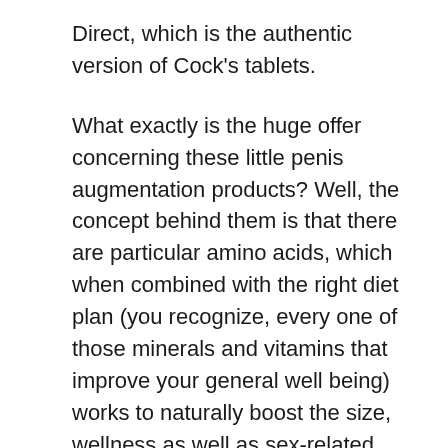Direct, which is the authentic version of Cock’s tablets.
What exactly is the huge offer concerning these little penis augmentation products? Well, the concept behind them is that there are particular amino acids, which when combined with the right diet plan (you recognize, every one of those minerals and vitamins that improve your general well being) works to naturally boost the size, wellness as well as sex-related efficiency. It is thought that a penis made larger by Extenze, will certainly have better nerve endings as well as have the ability to feel sexual enhancement impacts, similar to when you utilize Dick’s gas station penis pills.